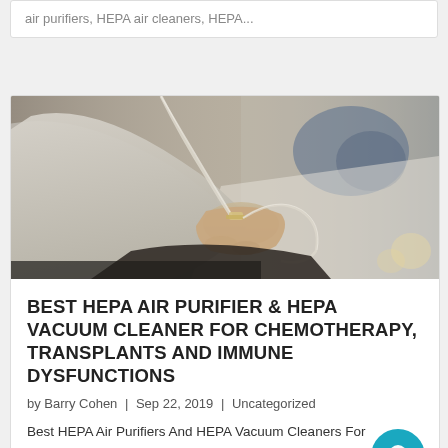air purifiers, HEPA air cleaners, HEPA...
[Figure (photo): Close-up photo of a patient's hand with an IV line inserted, resting on a hospital chair or bed, with blurred medical surroundings in the background.]
BEST HEPA AIR PURIFIER & HEPA VACUUM CLEANER FOR CHEMOTHERAPY, TRANSPLANTS AND IMMUNE DYSFUNCTIONS
by Barry Cohen | Sep 22, 2019 | Uncategorized
Best HEPA Air Purifiers And HEPA Vacuum Cleaners For Protection During And After Chemotherapy Do you know that over 95 percent of the HEPA air purifiers and HEPA